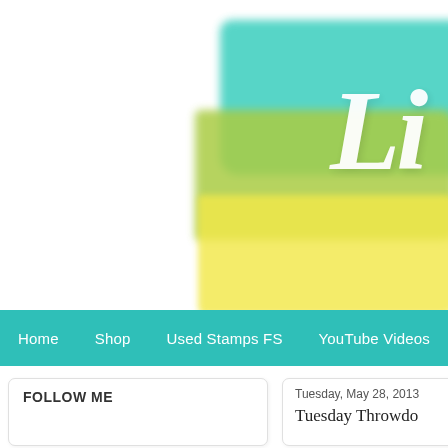[Figure (illustration): Blog header with watercolor paint blocks in teal, green, and yellow, partially showing a white cursive script logo text starting with 'Li']
Home  Shop  Used Stamps FS  YouTube Videos
FOLLOW ME
Tuesday, May 28, 2013
Tuesday Throwdo